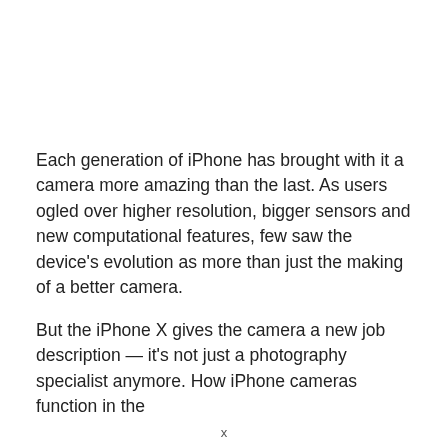Each generation of iPhone has brought with it a camera more amazing than the last. As users ogled over higher resolution, bigger sensors and new computational features, few saw the device's evolution as more than just the making of a better camera.
But the iPhone X gives the camera a new job description — it's not just a photography specialist anymore. How iPhone cameras function in the
x